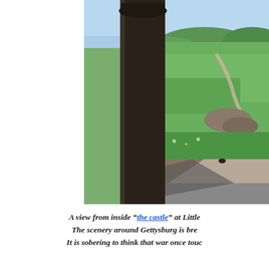[Figure (photo): View from inside a stone structure ('the castle') at Little Round Top, Gettysburg. A dark stone column is silhouetted on the left foreground. Beyond it, a sweeping landscape of green fields, scattered trees, a winding road, and rocky terrain is visible under a bright blue sky. The lower portion shows a stone ledge and a paved path in shadow.]
A view from inside "the castle" at Little Round Top, Gettysburg. The scenery around Gettysburg is breathtaking. It is sobering to think that war once touched this beautiful land.